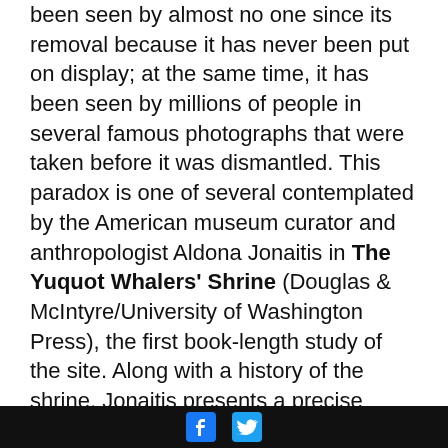been seen by almost no one since its removal because it has never been put on display; at the same time, it has been seen by millions of people in several famous photographs that were taken before it was dismantled. This paradox is one of several contemplated by the American museum curator and anthropologist Aldona Jonaitis in The Yuquot Whalers' Shrine (Douglas & McIntyre/University of Washington Press), the first book-length study of the site. Along with a history of the shrine, Jonaitis presents a precise description of its contents, many photographs and several First Nations stories accounting for its origins. When I look at the photographs of the carved human effigies with their blank, unseeing eyes staring back at me, I am reminded once again of that other, parallel reality that existed, and still exists, in this part of the world. The
[Facebook icon] [Twitter icon]